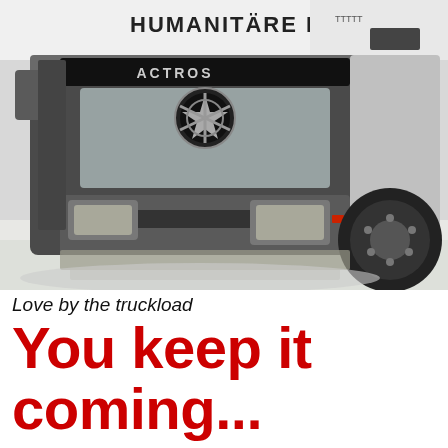[Figure (photo): Front view of a Mercedes-Benz Actros truck cab covered in snow and mud, with 'HUMANITARE HILFE' written on the trailer above, parked in a snowy setting.]
Love by the truckload
You keep it coming...